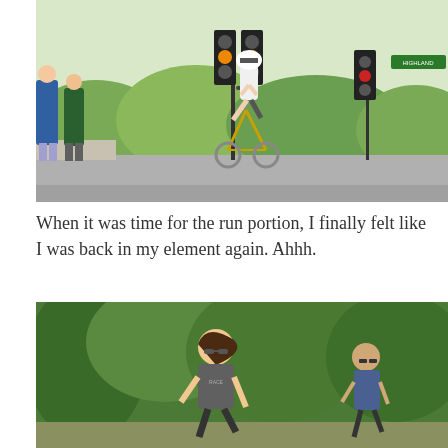[Figure (photo): Triathlete in aerodynamic position on a bicycle riding through an intersection with traffic lights. Spectators visible on the left side of the road. Trees and hills in the background.]
When it was time for the run portion, I finally felt like I was back in my element again.  Ahhh.
[Figure (photo): Woman with long hair running in a triathlon race, smiling, wearing a gray t-shirt and sunglasses. Another runner visible in the background to the right. Green trees in the background.]